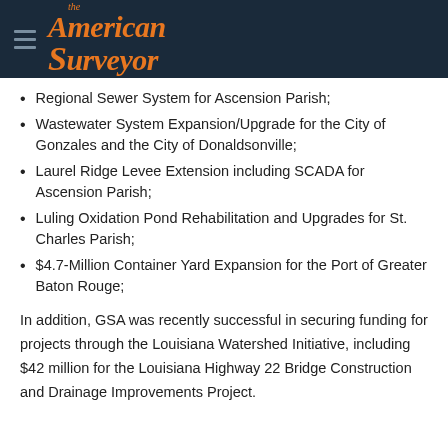The American Surveyor
Regional Sewer System for Ascension Parish;
Wastewater System Expansion/Upgrade for the City of Gonzales and the City of Donaldsonville;
Laurel Ridge Levee Extension including SCADA for Ascension Parish;
Luling Oxidation Pond Rehabilitation and Upgrades for St. Charles Parish;
$4.7-Million Container Yard Expansion for the Port of Greater Baton Rouge;
In addition, GSA was recently successful in securing funding for projects through the Louisiana Watershed Initiative, including $42 million for the Louisiana Highway 22 Bridge Construction and Drainage Improvements Project.